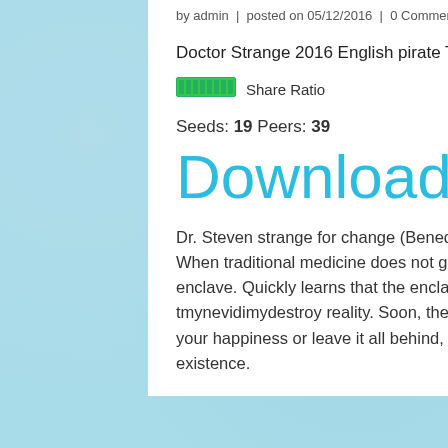by admin  |  posted on 05/12/2016  |  0 Comments
Doctor Strange 2016 English pirate Torrent
[Figure (other): Green share ratio progress bar]
Share Ratio
Seeds: 19 Peers: 39
Download
Dr. Steven strange for change (Benedict Cumberbatch) life after a car accident grips hands. When traditional medicine does not go, he is looking for healing and hope, in the mysterious enclave. Quickly learns that the enclave is on the front line in the fight against the forces bent tmynevidimydestroy reality. Soon, the country is forced to choose between the status of life and your happiness or leave it all behind, to protect the world as the most powerful wizard in existence.